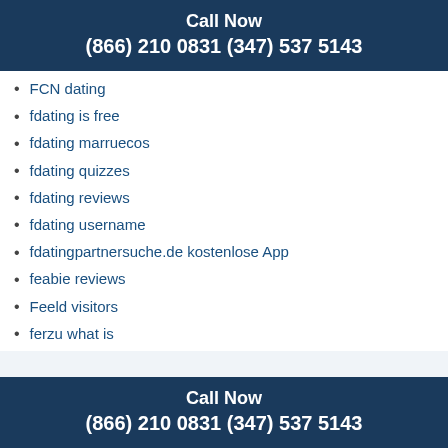Call Now
(866) 210 0831 (347) 537 5143
FCN dating
fdating is free
fdating marruecos
fdating quizzes
fdating reviews
fdating username
fdatingpartnersuche.de kostenlose App
feabie reviews
Feeld visitors
ferzu what is
FetLife beitrag
fetlife online dating
fetlife reddit
fetlife review 2020
fetlife reviews
filipino brides
Filmes pornográficos graátis
Call Now
(866) 210 0831 (347) 537 5143